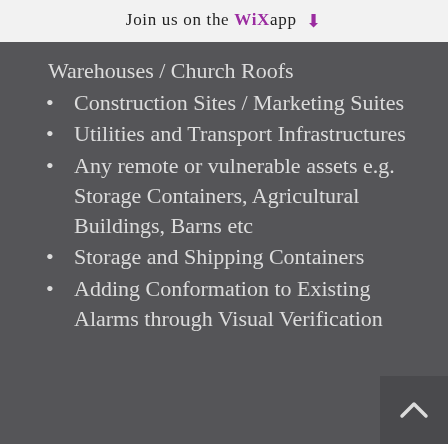Join us on the WiX app
Warehouses / Church Roofs
Construction Sites / Marketing Suites
Utilities and Transport Infrastructures
Any remote or vulnerable assets e.g. Storage Containers, Agricultural Buildings, Barns etc
Storage and Shipping Containers
Adding Conformation to Existing Alarms through Visual Verification